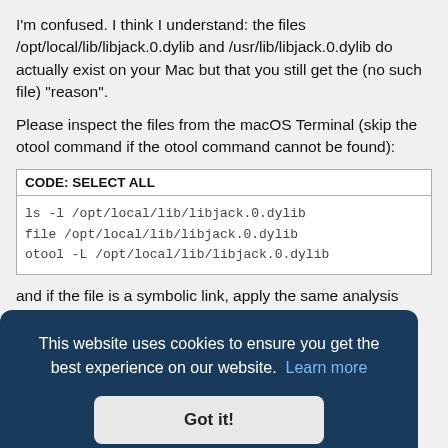I'm confused. I think I understand: the files /opt/local/lib/libjack.0.dylib and /usr/lib/libjack.0.dylib do actually exist on your Mac but that you still get the (no such file) "reason".
Please inspect the files from the macOS Terminal (skip the otool command if the otool command cannot be found):
| CODE: SELECT ALL |
| --- |
| ls -l /opt/local/lib/libjack.0.dylib |
| file /opt/local/lib/libjack.0.dylib |
| otool -L /opt/local/lib/libjack.0.dylib |
and if the file is a symbolic link, apply the same analysis
[Figure (other): Cookie consent banner overlay with dark blue background. Text: 'This website uses cookies to ensure you get the best experience on our website. Learn more' with a 'Got it!' button.]
blem: It cation
In recent Jack installations for Mac, our build system is using an older version of Jack, and therefore our JackIO